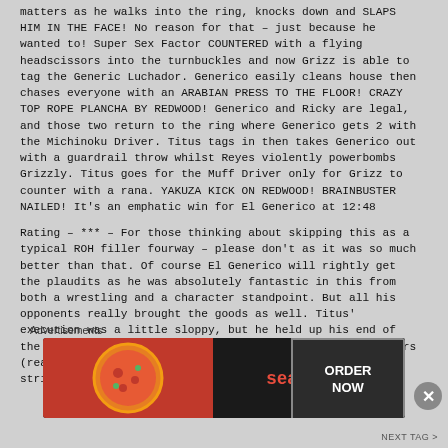matters as he walks into the ring, knocks down and SLAPS HIM IN THE FACE! No reason for that – just because he wanted to! Super Sex Factor COUNTERED with a flying headscissors into the turnbuckles and now Grizz is able to tag the Generic Luchador. Generico easily cleans house then chases everyone with an ARABIAN PRESS TO THE FLOOR! CRAZY TOP ROPE PLANCHA BY REDWOOD! Generico and Ricky are legal, and those two return to the ring where Generico gets 2 with the Michinoku Driver. Titus tags in then takes Generico out with a guardrail throw whilst Reyes violently powerbombs Grizzly. Titus goes for the Muff Driver only for Grizz to counter with a rana. YAKUZA KICK ON REDWOOD! BRAINBUSTER NAILED! It's an emphatic win for El Generico at 12:48
Rating – *** – For those thinking about skipping this as a typical ROH filler fourway – please don't as it was so much better than that. Of course El Generico will rightly get the plaudits as he was absolutely fantastic in this from both a wrestling and a character standpoint. But all his opponents really brought the goods as well. Titus' execution was a little sloppy, but he held up his end of the deal, Reyes worked possibly his best ROH match in years (really NAILING the sour veteran act, whilst his brief strike battles with Generico were AWESOME), and
Advertisements
[Figure (other): Seamless food delivery advertisement banner with pizza image on red background on left, 'seamless' text in red on dark background in center, and 'ORDER NOW' button in grey box on right]